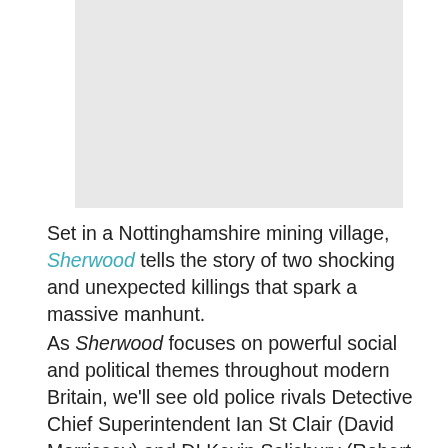[Figure (photo): Gray placeholder image block representing a photo or image related to Sherwood]
Set in a Nottinghamshire mining village, Sherwood tells the story of two shocking and unexpected killings that spark a massive manhunt.
As Sherwood focuses on powerful social and political themes throughout modern Britain, we'll see old police rivals Detective Chief Superintendent Ian St Clair (David Morrissey) and DI Kevin Salisbury (Robert